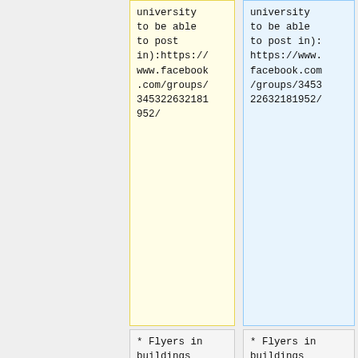university to be able to post in):https://www.facebook.com/groups/345322632181952/
university to be able to post in): https://www.facebook.com/groups/345322632181952/
* Flyers in buildings relevant to specific majors, particularly CSIC (CS majors), BPS (psychology majors), and SPH (healthcare-related
* Flyers in buildings relevant to specific majors, particularly CSIC (CS majors), BPS (psychology majors), and SPH (healthcare-related